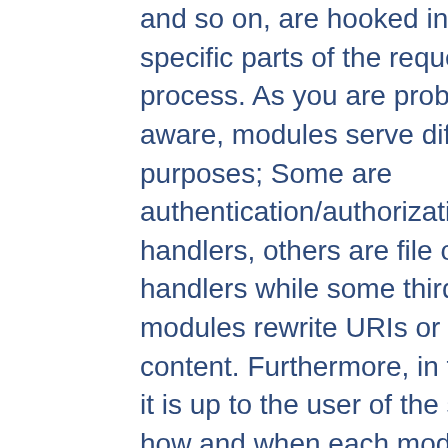and so on, are hooked into specific parts of the request process. As you are probably aware, modules serve different purposes; Some are authentication/authorization handlers, others are file or script handlers while some third modules rewrite URIs or proxies content. Furthermore, in the end, it is up to the user of the server how and when each module will come into place. Thus, the server itself does not presume to know which module is responsible for handling a specific request, and will ask each module whether they have an interest in a given request or not. It is then up to each module to